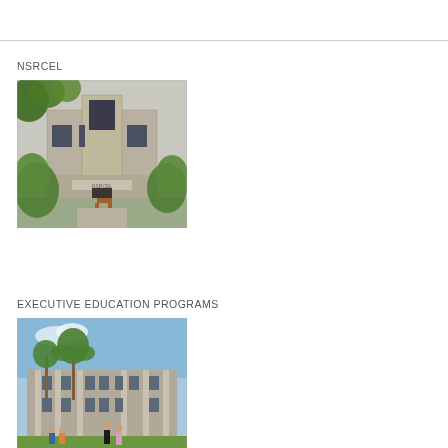NSRCEL
[Figure (photo): Exterior of a building with brick facade, large windows, trees with green foliage in foreground, and landscaped entrance area]
EXECUTIVE EDUCATION PROGRAMS
[Figure (photo): Exterior of an institutional building with palm trees, people standing in front, blue sky background]